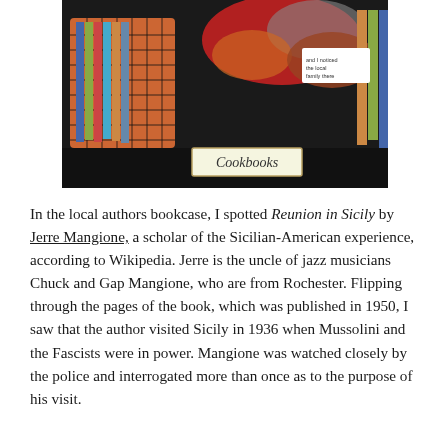[Figure (photo): A photograph of a bookcase shelf showing a wire basket with books and colorful scarves/fabric items. A handwritten label reading 'Cookbooks' is visible in the center of the shelf.]
In the local authors bookcase, I spotted Reunion in Sicily by Jerre Mangione, a scholar of the Sicilian-American experience, according to Wikipedia. Jerre is the uncle of jazz musicians Chuck and Gap Mangione, who are from Rochester. Flipping through the pages of the book, which was published in 1950, I saw that the author visited Sicily in 1936 when Mussolini and the Fascists were in power. Mangione was watched closely by the police and interrogated more than once as to the purpose of his visit.